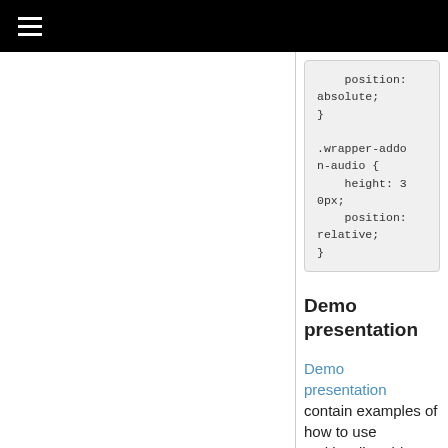≡
position: absolute;
}

.wrapper-addon-audio {
    height: 30px;
    position: relative;
}
Demo presentation
Demo presentation contain examples of how to use MultiAudio addon.